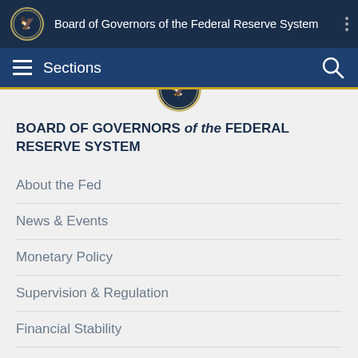Board of Governors of the Federal Reserve System
Sections
BOARD OF GOVERNORS of the FEDERAL RESERVE SYSTEM
About the Fed
News & Events
Monetary Policy
Supervision & Regulation
Financial Stability
Payment Systems
Economic Research
Data